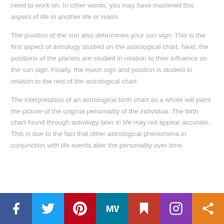need to work on. In other words, you may have mastered this aspect of life in another life or realm.
The position of the sun also determines your sun sign. This is the first aspect of astrology studied on the astrological chart. Next, the positions of the planets are studied in relation to their influence on the sun sign. Finally, the moon sign and position is studied in relation to the rest of the astrological chart.
The interpretation of an astrological birth chart as a whole will paint the picture of the original personality of the individual. The birth chart found through astrology later in life may not appear accurate. This is due to the fact that other astrological phenomena in conjunction with life events alter the personality over time.
[Figure (infographic): Social media sharing bar with icons: Facebook (blue), Twitter (light blue), Pinterest (red), MeWe (teal), Flipboard (red), Instagram (purple), Share (orange)]